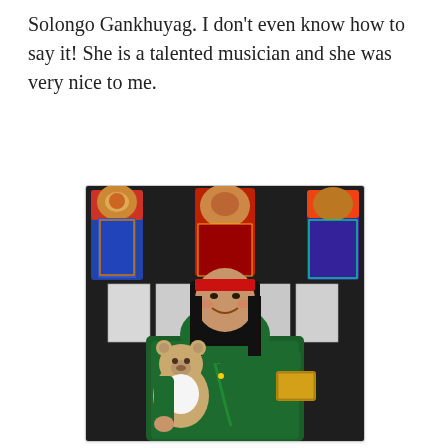Solongo Gankhuyag. I don't even know how to say it! She is a talented musician and she was very nice to me.
[Figure (photo): A woman wearing traditional Mongolian dress (green silk robe with gold embroidery) and a red headband, smiling and holding a teddy bear. She is standing in front of a dark wall decorated with colorful traditional Mongolian masks/costumes and framed black-and-white photographs.]